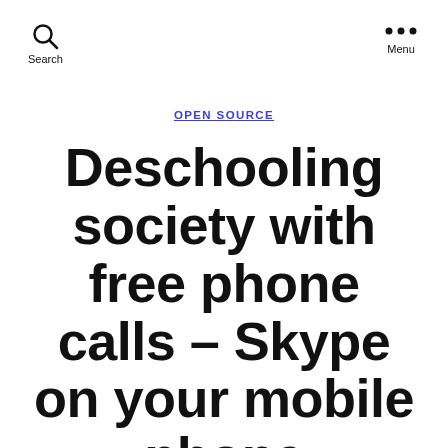Search   Menu
OPEN SOURCE
Deschooling society with free phone calls – Skype on your mobile phone
By Teemu Leinonen   February 13, 2007   7 Comments